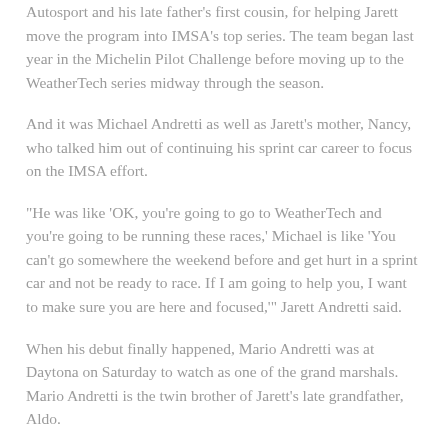Autosport and his late father's first cousin, for helping Jarett move the program into IMSA's top series. The team began last year in the Michelin Pilot Challenge before moving up to the WeatherTech series midway through the season.
And it was Michael Andretti as well as Jarett's mother, Nancy, who talked him out of continuing his sprint car career to focus on the IMSA effort.
“He was like ‘OK, you’re going to go to WeatherTech and you’re going to be running these races,’ Michael is like ‘You can’t go somewhere the weekend before and get hurt in a sprint car and not be ready to race. If I am going to help you, I want to make sure you are here and focused,’” Jarett Andretti said.
When his debut finally happened, Mario Andretti was at Daytona on Saturday to watch as one of the grand marshals. Mario Andretti is the twin brother of Jarett’s late grandfather, Aldo.